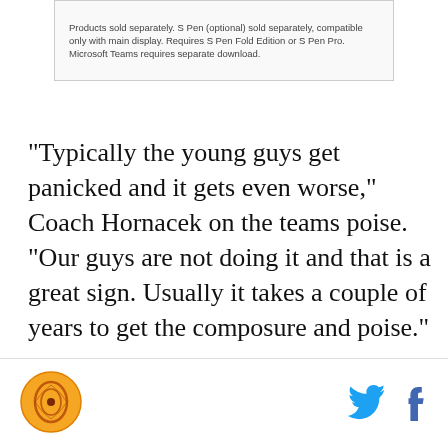[Figure (other): Advertisement box with small print text about Samsung products]
"Typically the young guys get panicked and it gets even worse," Coach Hornacek on the teams poise. "Our guys are not doing it and that is a great sign. Usually it takes a couple of years to get the composure and poise."
In the fourth quarter the young Suns have showed resilience as well as poise.
Through these seven games, in every game, the Suns have trailed or led by 5 points or less with under 5:00 minutes remaining. They have played well and done
Logo and social icons (Twitter, Facebook)